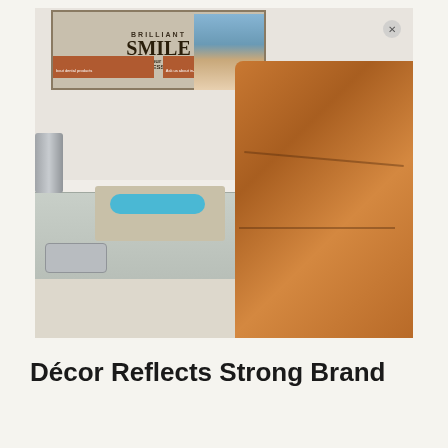[Figure (photo): Interior of a dental office showing a brown leather dental chair in the foreground, a dental counter with sink and tray with blue item, and a poster on the wall reading 'Brilliant SMILE is your best ACCESSORY' with a person in blue stripes. Dental equipment visible.]
Décor Reflects Strong Brand